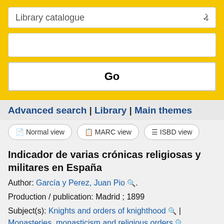[Figure (screenshot): Library catalogue search bar with dropdown, text input, and Go button on yellow background]
Advanced search | Library | Main themes
Normal view | MARC view | ISBD view
Indicador de varias crónicas religiosas y militares en España
Author: García y Perez, Juan Pio 🔍.
Production / publication: Madrid ; 1899
Subject(s): Knights and orders of knighthood 🔍 | Monasteries, monasticism and religious orders 🔍
Holdings ( 1 )